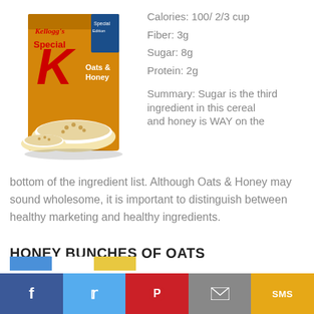[Figure (photo): Kellogg's Special K Oats & Honey cereal box with bowls of cereal]
Calories: 100/ 2/3 cup
Fiber: 3g
Sugar: 8g
Protein: 2g
Summary: Sugar is the third ingredient in this cereal and honey is WAY on the bottom of the ingredient list. Although Oats & Honey may sound wholesome, it is important to distinguish between healthy marketing and healthy ingredients.
HONEY BUNCHES OF OATS
[Figure (photo): Honey Bunches of Oats cereal box (partially visible at bottom)]